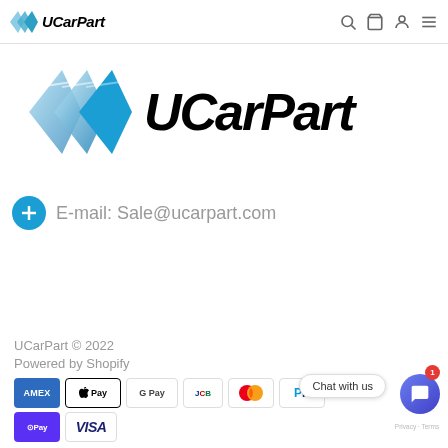UCarPart
[Figure (logo): UCarPart logo with blue chevron arrows and bold italic black UCarPart text]
E-mail: Sale@ucarpart.com
UCarPart © 2022
Powered by Shopify
[Figure (other): Payment method icons: Amex, Apple Pay, Google Pay, JCB, Mastercard, PayPal, Shop Pay, Visa]